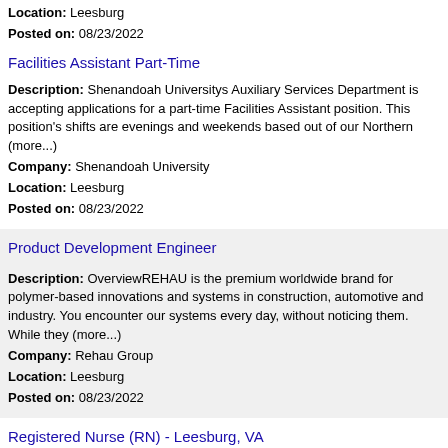Location: Leesburg
Posted on: 08/23/2022
Facilities Assistant Part-Time
Description: Shenandoah Universitys Auxiliary Services Department is accepting applications for a part-time Facilities Assistant position. This position's shifts are evenings and weekends based out of our Northern (more...)
Company: Shenandoah University
Location: Leesburg
Posted on: 08/23/2022
Product Development Engineer
Description: OverviewREHAU is the premium worldwide brand for polymer-based innovations and systems in construction, automotive and industry. You encounter our systems every day, without noticing them. While they (more...)
Company: Rehau Group
Location: Leesburg
Posted on: 08/23/2022
Registered Nurse (RN) - Leesburg, VA
Description: Psychiatric-Mental Health opening in Leesburg, Virginia. This and other rn jobs brought to you by NursingJobCafe.com br br